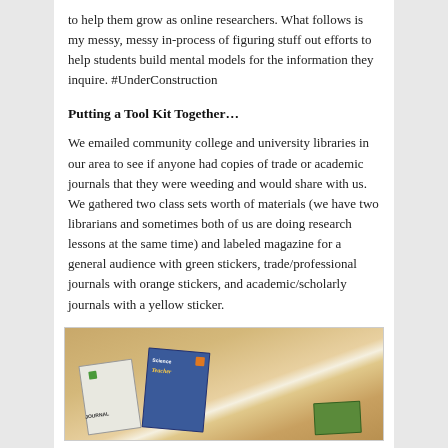to help them grow as online researchers. What follows is my messy, messy in-process of figuring stuff out efforts to help students build mental models for the information they inquire. #UnderConstruction
Putting a Tool Kit Together…
We emailed community college and university libraries in our area to see if anyone had copies of trade or academic journals that they were weeding and would share with us. We gathered two class sets worth of materials (we have two librarians and sometimes both of us are doing research lessons at the same time) and labeled magazine for a general audience with green stickers, trade/professional journals with orange stickers, and academic/scholarly journals with a yellow sticker.
[Figure (photo): Photo of several journals and magazines laid out on a wooden surface, with colored stickers (green, orange) visible on the covers, including a Science Teacher journal.]